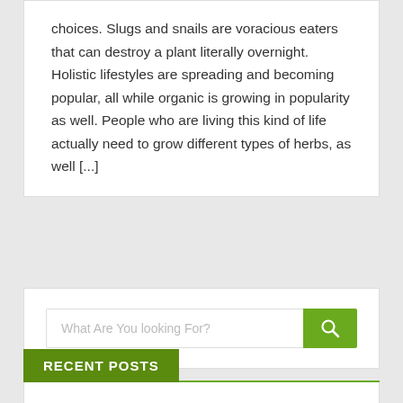choices. Slugs and snails are voracious eaters that can destroy a plant literally overnight. Holistic lifestyles are spreading and becoming popular, all while organic is growing in popularity as well. People who are living this kind of life actually need to grow different types of herbs, as well [...]
[Figure (screenshot): Search bar with placeholder text 'What Are You looking For?' and a green search button with magnifying glass icon]
RECENT POSTS